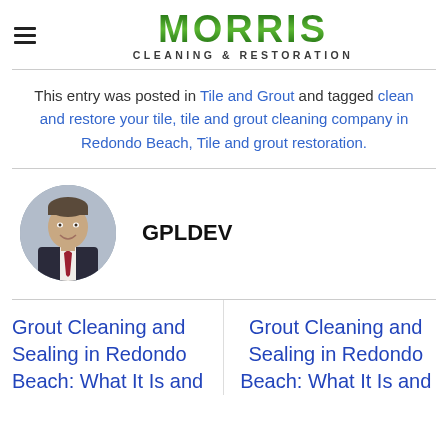MORRIS CLEANING & RESTORATION
This entry was posted in Tile and Grout and tagged clean and restore your tile, tile and grout cleaning company in Redondo Beach, Tile and grout restoration.
[Figure (photo): Circular headshot of a man in a dark suit with a red tie, smiling, gray background]
GPLDEV
Grout Cleaning and Sealing in Redondo Beach: What It Is and
Grout Cleaning and Sealing in Redondo Beach: What It Is and